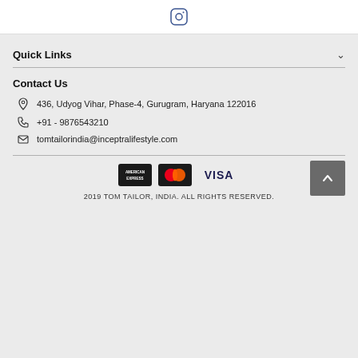[Figure (logo): Instagram icon (camera in rounded square outline)]
Quick Links
Contact Us
436, Udyog Vihar, Phase-4, Gurugram, Haryana 122016
+91 - 9876543210
tomtailorindia@inceptralifestyle.com
[Figure (logo): Payment logos: American Express, MasterCard, VISA]
2019 TOM TAILOR, INDIA. ALL RIGHTS RESERVED.